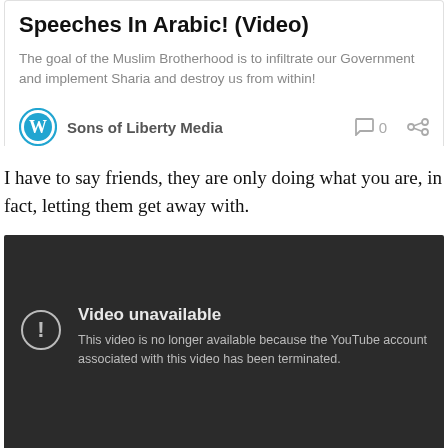Speeches In Arabic! (Video)
The goal of the Muslim Brotherhood is to infiltrate our Government and implement Sharia and destroy us from within!
Sons of Liberty Media   0
I have to say friends, they are only doing what you are, in fact, letting them get away with.
[Figure (screenshot): YouTube video unavailable screen with dark background. Shows an exclamation mark circle icon and text: 'Video unavailable. This video is no longer available because the YouTube account associated with this video has been terminated.']